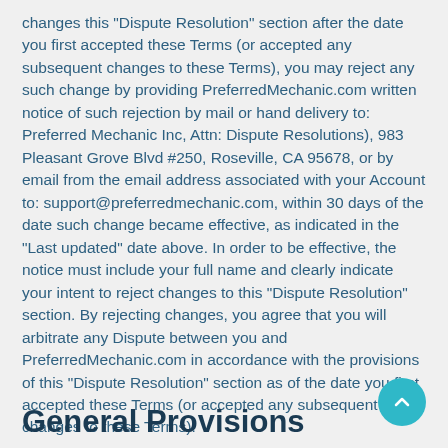changes this "Dispute Resolution" section after the date you first accepted these Terms (or accepted any subsequent changes to these Terms), you may reject any such change by providing PreferredMechanic.com written notice of such rejection by mail or hand delivery to: Preferred Mechanic Inc, Attn: Dispute Resolutions), 983 Pleasant Grove Blvd #250, Roseville, CA 95678, or by email from the email address associated with your Account to: support@preferredmechanic.com, within 30 days of the date such change became effective, as indicated in the "Last updated" date above. In order to be effective, the notice must include your full name and clearly indicate your intent to reject changes to this "Dispute Resolution" section. By rejecting changes, you agree that you will arbitrate any Dispute between you and PreferredMechanic.com in accordance with the provisions of this "Dispute Resolution" section as of the date you first accepted these Terms (or accepted any subsequent changes to these Terms).
General Provisions